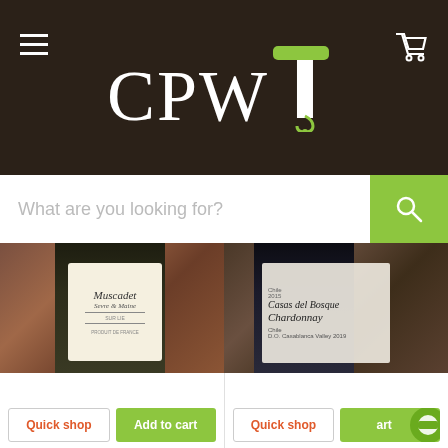[Figure (screenshot): CPWT wine shop website header with dark brown background, hamburger menu icon on left, shopping cart icon on right, and CPWT logo in white with a green corkscrew accent on the T]
[Figure (screenshot): Search bar with placeholder text 'What are you looking for?' and green search button]
[Figure (photo): Close-up photo of Muscadet Sevre & Maine wine bottle label]
£11.80
Selection du Domaine Muscadet Sur Lie 2020, Dom de la Bretonniere
Domaine de la Bretonniere
[Figure (screenshot): Quick shop and Add to cart buttons for Muscadet wine]
[Figure (photo): Close-up photo of Gran Reserva Chardonnay Casas del Bosque wine bottle label, D.O. Casablanca Valley]
£14.40
Gran Reserva Chardonnay 2019 Casas del Bosque
Casas del Bosque
[Figure (screenshot): Quick shop and Add to cart buttons for Chardonnay wine]